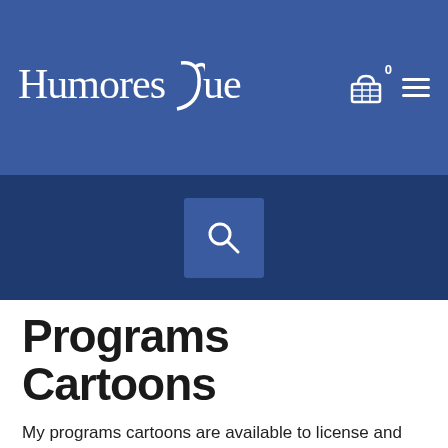Humoresque
[Figure (screenshot): Navigation bar with Humoresque logo (serif font, white text on blue background), shopping cart icon with badge showing '0', and hamburger menu icon on the right]
[Figure (screenshot): Dark navy search bar area with a blue search button containing a magnifying glass icon]
Programs Cartoons
My programs cartoons are available to license and download at affordable rates for websites, social media, presentations, newsletters, e-mail campaigns, advertising, publications, public speaking events and more. When you find a programs